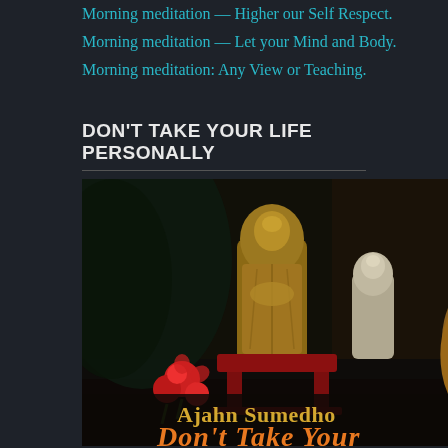Morning meditation — Higher our Self Respect.
Morning meditation — Let your Mind and Body.
Morning meditation: Any View or Teaching.
DON'T TAKE YOUR LIFE PERSONALLY
[Figure (photo): Book cover of 'Don't Take Your Life Personally' by Ajahn Sumedho. Shows a monk in brown/ochre robes seen from behind, facing Buddhist statues (a golden Buddha and a white Buddha). Red flowers visible in the lower left. The author name 'Ajahn Sumedho' and partial title 'Don't Take Your...' appear at the bottom in gold/orange text on a dark background.]